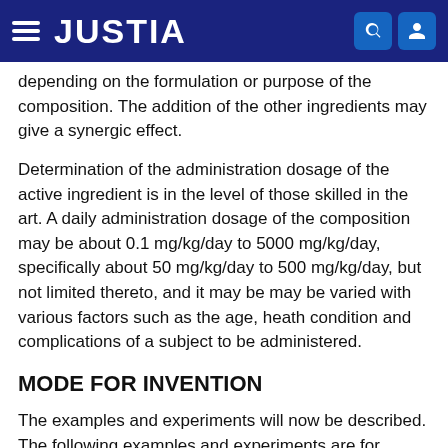JUSTIA
depending on the formulation or purpose of the composition. The addition of the other ingredients may give a synergic effect.
Determination of the administration dosage of the active ingredient is in the level of those skilled in the art. A daily administration dosage of the composition may be about 0.1 mg/kg/day to 5000 mg/kg/day, specifically about 50 mg/kg/day to 500 mg/kg/day, but not limited thereto, and it may be may be varied with various factors such as the age, heath condition and complications of a subject to be administered.
MODE FOR INVENTION
The examples and experiments will now be described. The following examples and experiments are for illustrative purposes only and not intended to limit the